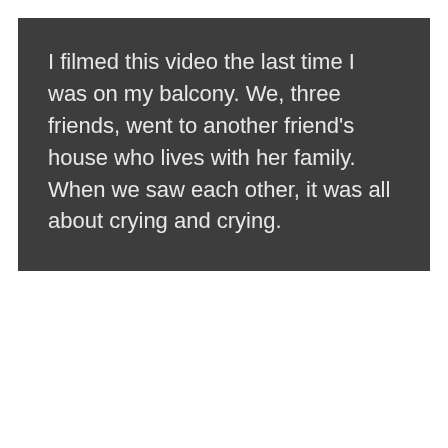I filmed this video the last time I was on my balcony. We, three friends, went to another friend's house who lives with her family. When we saw each other, it was all about crying and crying.